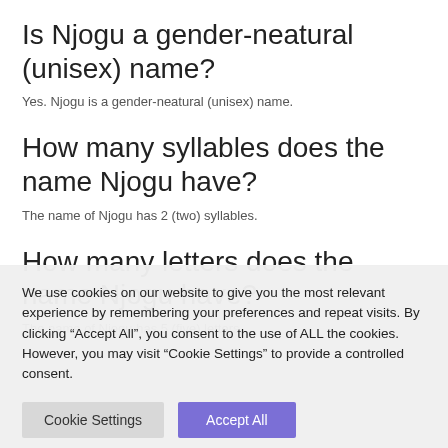Is Njogu a gender-neatural (unisex) name?
Yes. Njogu is a gender-neatural (unisex) name.
How many syllables does the name Njogu have?
The name of Njogu has 2 (two) syllables.
How many letters does the name Njogu have?
The name of Njogu has 5 (five) letters.
We use cookies on our website to give you the most relevant experience by remembering your preferences and repeat visits. By clicking “Accept All”, you consent to the use of ALL the cookies. However, you may visit "Cookie Settings" to provide a controlled consent.